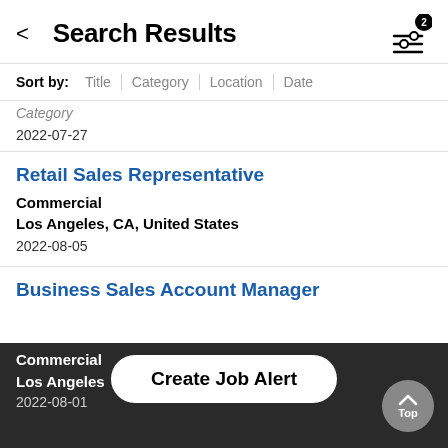Search Results
Sort by: Title | Category | Location | Date
2022-07-27
Retail Sales Representative
Commercial
Los Angeles, CA, United States
2022-08-05
Business Sales Account Manager
Commercial
Los Angeles
2022-08-01
Create Job Alert